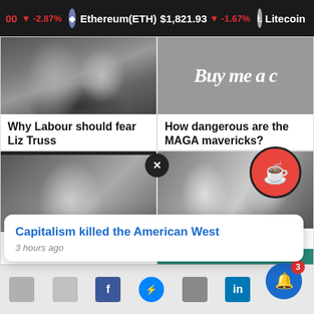00 ▼ -2.87% Ethereum(ETH) $1,821.93 ▼ -1.67% Litecoin
[Figure (photo): Black and white photo of two men in suits at what appears to be a panel or event]
Why Labour should fear Liz Truss
[Figure (photo): Gray banner with text 'Buy me a c...' (Buy me a coffee promotional image)]
How dangerous are the MAGA mavericks?
[Figure (photo): Black and white photo of a woman standing at what appears to be a stage or set]
[Figure (photo): Black and white photo of two people in profile, a man and a woman]
ner's ed chance
Capitalism killed the American West
3 hours ago